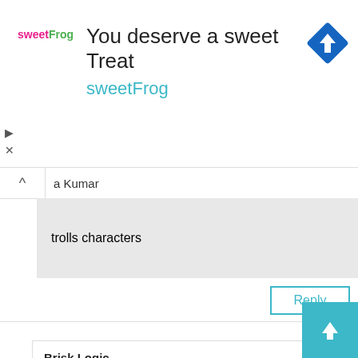[Figure (screenshot): Advertisement banner for sweetFrog frozen yogurt. Shows sweetFrog logo on left, text 'You deserve a sweet Treat' and 'sweetFrog' in teal, navigation/direction icon (blue diamond with arrow) on right.]
a Kumar
trolls characters
Reply
Brisk Logic
informative article best web app development agency
Re